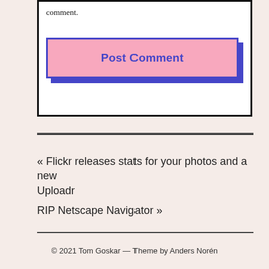comment.
[Figure (screenshot): Pink 'Post Comment' button with blue border and blue shadow offset behind it, inside a white bordered box.]
« Flickr releases stats for your photos and a new Uploadr
RIP Netscape Navigator »
© 2021 Tom Goskar — Theme by Anders Norén